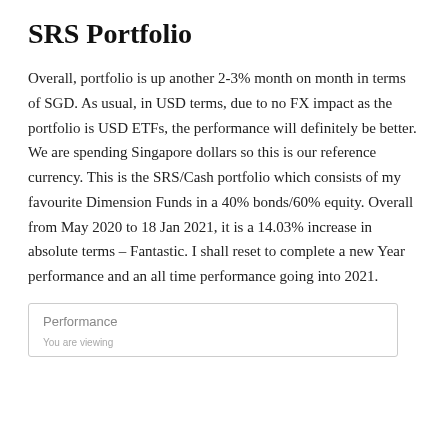SRS Portfolio
Overall, portfolio is up another 2-3% month on month in terms of SGD. As usual, in USD terms, due to no FX impact as the portfolio is USD ETFs, the performance will definitely be better. We are spending Singapore dollars so this is our reference currency. This is the SRS/Cash portfolio which consists of my favourite Dimension Funds in a 40% bonds/60% equity. Overall from May 2020 to 18 Jan 2021, it is a 14.03% increase in absolute terms – Fantastic. I shall reset to complete a new Year performance and an all time performance going into 2021.
Performance
You are viewing